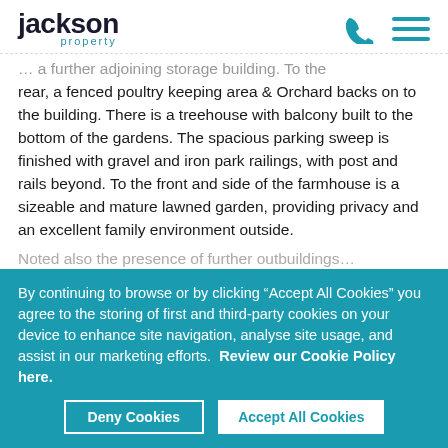jackson property
... a further adjoining storage building. To the rear, a fenced poultry keeping area & Orchard backs on to the building. There is a treehouse with balcony built to the bottom of the gardens. The spacious parking sweep is finished with gravel and iron park railings, with post and rails beyond. To the front and side of the farmhouse is a sizeable and mature lawned garden, providing privacy and an excellent family environment outside.
Noted also the presence of further outbuildings...
By continuing to browse or by clicking “Accept All Cookies” you agree to the storing of first and third-party cookies on your device to enhance site navigation, analyse site usage, and assist in our marketing efforts.  Review our Cookie Policy here.